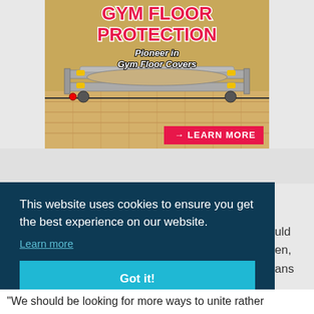[Figure (photo): Advertisement for Gym Floor Protection showing a floor cover rolling machine on a gymnasium hardwood floor. Bold red text reads 'GYM FLOOR PROTECTION' with italic subtitle 'Pioneer in Gym Floor Covers' and a red 'LEARN MORE' button.]
This website uses cookies to ensure you get the best experience on our website.
Learn more
Got it!
"We should be looking for more ways to unite rather